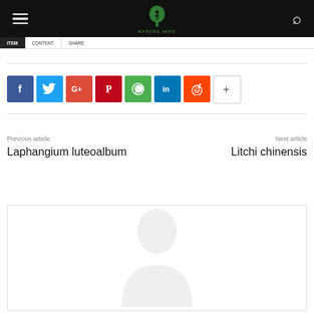Nature Info — navigation header with logo, hamburger menu, and search icon
Previous article
Laphangium luteoalbum
Next article
Litchi chinensis
[Figure (illustration): Social share buttons: Facebook (blue), Twitter (light blue), Google+ (red-orange), Pinterest (dark red), WhatsApp (green), LinkedIn (dark blue), Reddit (orange-red), More (+) white button]
[Figure (photo): Author silhouette/avatar placeholder showing a light gray person outline against white background inside a bordered card]